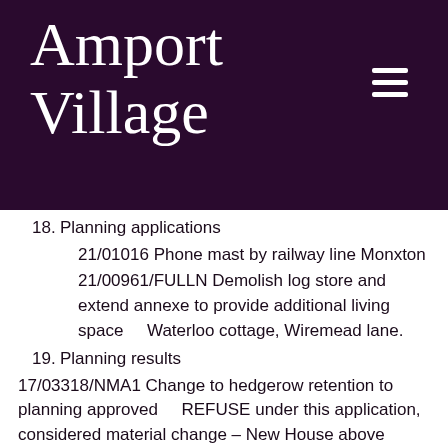Amport Village
18. Planning applications
21/01016 Phone mast by railway line Monxton
21/00961/FULLN Demolish log store and extend annexe to provide additional living space    Waterloo cottage, Wiremead lane.
19. Planning results
17/03318/NMA1 Change to hedgerow retention to planning approved    REFUSE under this application, considered material change – New House above graveyard
20. Finance incl. approval of y.e. accounts clerk /AM
21. Chair report
dog waste bin by Hawk
[Figure (logo): reCAPTCHA badge with circular arrow logo and Privacy · Terms links]